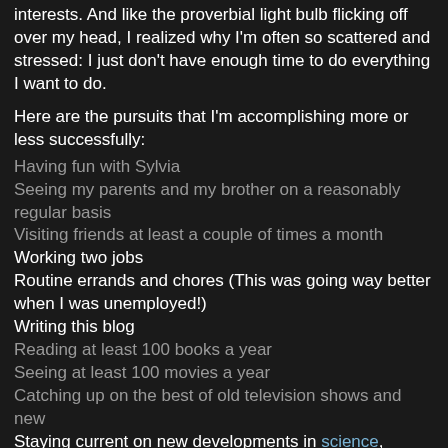interests. And like the proverbial light bulb flicking off over my head, I realized why I'm often so scattered and stressed: I just don't have enough time to do everything I want to do.
Here are the pursuits that I'm accomplishing more or less successfully:
Having fun with Sylvia
Seeing my parents and my brother on a reasonably regular basis
Visiting friends at least a couple of times a month
Working two jobs
Routine errands and chores (This was going way better when I was unemployed!)
Writing this blog
Reading at least 100 books a year
Seeing at least 100 movies a year
Catching up on the best of old television shows and new
Staying current on new developments in science, philosophy, politics and literature
At first blush this seems like a pretty modest list, especially since Sylvia and I aren't raising children. And yet these